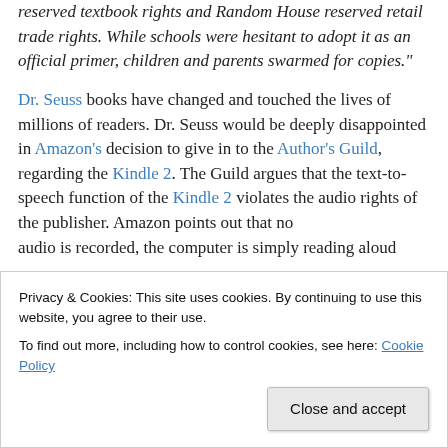reserved textbook rights and Random House reserved retail trade rights. While schools were hesitant to adopt it as an official primer, children and parents swarmed for copies."
Dr. Seuss books have changed and touched the lives of millions of readers. Dr. Seuss would be deeply disappointed in Amazon's decision to give in to the Author's Guild, regarding the Kindle 2. The Guild argues that the text-to-speech function of the Kindle 2 violates the audio rights of the publisher. Amazon points out that no audio is recorded, the computer is simply reading aloud
Privacy & Cookies: This site uses cookies. By continuing to use this website, you agree to their use. To find out more, including how to control cookies, see here: Cookie Policy
Close and accept